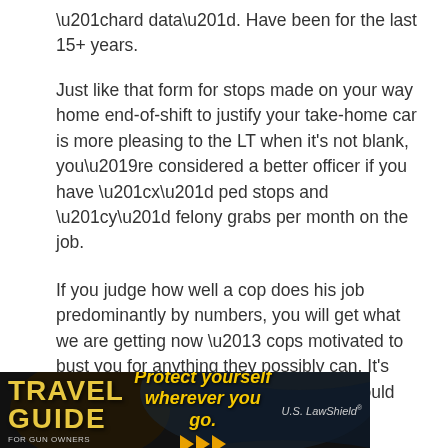“hard data”. Have been for the last 15+ years.
Just like that form for stops made on your way home end-of-shift to justify your take-home car is more pleasing to the LT when it’s not blank, you’re considered a better officer if you have “x” ped stops and “y” felony grabs per month on the job.
If you judge how well a cop does his job predominantly by numbers, you will get what we are getting now – cops motivated to bust you for anything they possibly can. It’s how they’re being graded, who would expect anything else?
[Figure (illustration): Advertisement banner for Travel Guide for Gun Owners and U.S. LawShield: dark background with text 'Protect yourself wherever you go.' with orange arrows and branding logos]